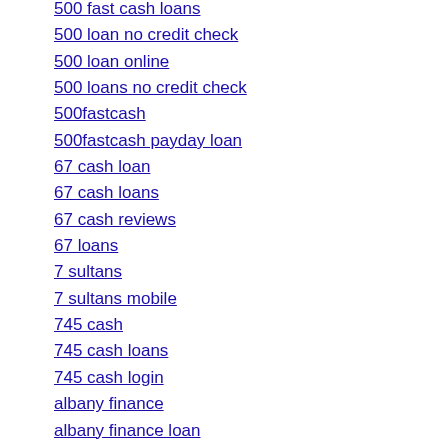500 fast cash loans
500 loan no credit check
500 loan online
500 loans no credit check
500fastcash
500fastcash payday loan
67 cash loan
67 cash loans
67 cash reviews
67 loans
7 sultans
7 sultans mobile
745 cash
745 cash loans
745 cash login
albany finance
albany finance loan
albany finance loans
albany finance monroe la